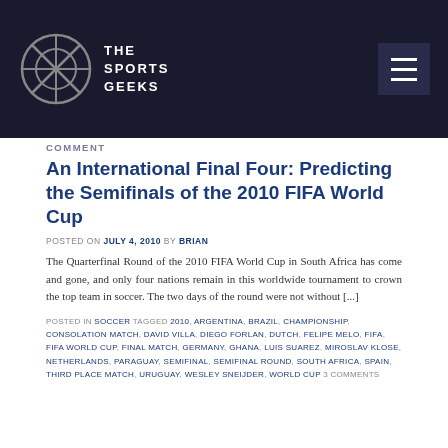THE SPORTS GEEKS
COMMENT
An International Final Four: Predicting the Semifinals of the 2010 FIFA World Cup
POSTED ON JULY 4, 2010 BY BRIAN
The Quarterfinal Round of the 2010 FIFA World Cup in South Africa has come and gone, and only four nations remain in this worldwide tournament to crown the top team in soccer. The two days of the round were not without [...]
POSTED IN SOCCER TAGGED 2010, ARGENTINA, BRAZIL, CHAMPIONSHIP, CONSOLATION MATCH, DAVID VILLA, DIEGO FORLAN, DUTCH, FELIPE MELO, FIFA, FIFA WORLD CUP, FINAL MATCH, GERMANY, GHANA, LUIS SUAREZ, MIROSLAV KLOSE, NETHERLANDS, PARAGUAY, SEMIFINAL, SEMIFINAL ROUND, SOUTH AFRICA, SPAIN, THIRD PLACE MATCH, URUGUAY, WESLEY SNEIJDER, WORLD CUP 3 COMMENTS